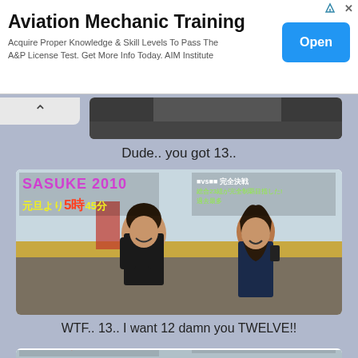[Figure (infographic): Advertisement banner for Aviation Mechanic Training by AIM Institute with Open button]
[Figure (screenshot): Partial screenshot of a person in dark clothing, top of a social media image]
Dude.. you got 13..
[Figure (screenshot): SASUKE 2010 TV show screenshot with two people laughing outdoors, Japanese text overlay]
WTF.. 13.. I want 12 damn you TWELVE!!
[Figure (screenshot): Second SASUKE 2010 TV show screenshot, partial view at bottom of page]